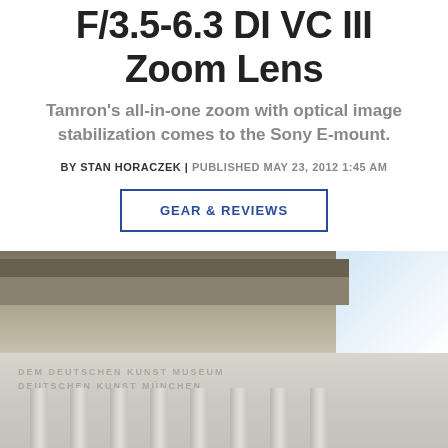F/3.5-6.3 DI VC III Zoom Lens
Tamron's all-in-one zoom with optical image stabilization comes to the Sony E-mount.
BY STAN HORACZEK | PUBLISHED MAY 23, 2012 1:45 AM
GEAR & REVIEWS
[Figure (photo): Photograph of a classical stone building with ornate cornice and columns, partially overlaid with a faded/washed-out lower section. A play button icon is visible in the lower right area.]